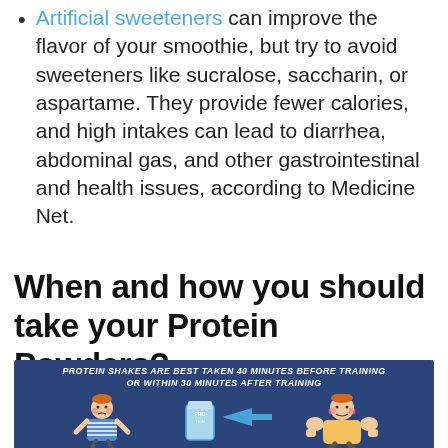Artificial sweeteners can improve the flavor of your smoothie, but try to avoid sweeteners like sucralose, saccharin, or aspartame. They provide fewer calories, and high intakes can lead to diarrhea, abdominal gas, and other gastrointestinal and health issues, according to Medicine Net.
When and how you should take your Protein Powders?
[Figure (infographic): Infographic on dark blue background showing two cartoon characters (a thin boy and a muscular boy) with a protein shake container and arrow between them. Text reads: PROTEIN SHAKES ARE BEST TAKEN 40 MINUTES BEFORE TRAINING OR WITHIN 30 MINUTES AFTER TRAINING]